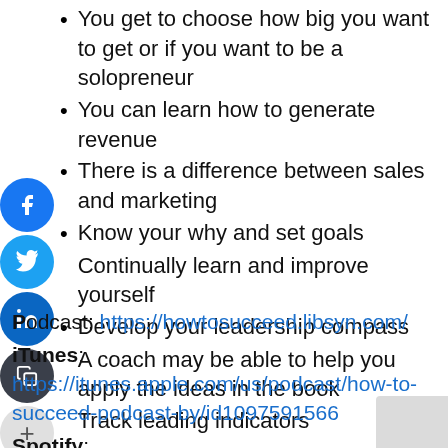You get to choose how big you want to get or if you want to be a solopreneur
You can learn how to generate revenue
There is a difference between sales and marketing
Know your why and set goals
Continually learn and improve yourself
Develop your leadership compass
A coach may be able to help you apply the ideas in the book
Track leading indicators
Podcast: https://howtosucceed.libsyn.com/
iTunes: https://itunes.apple.com/us/podcast/how-to-succeed-podcast-by/id1097591566
Spotify: https://open.spotify.com/show/00JoVzRtMzmQB5Ae5RWWQZ